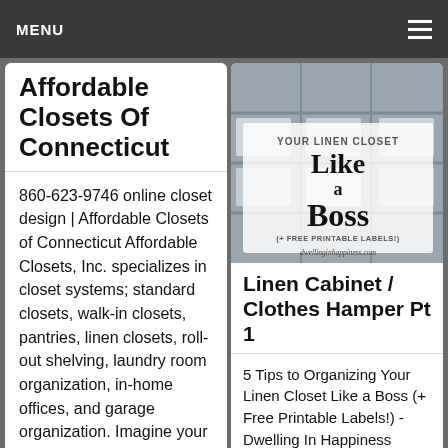MENU
Affordable Closets Of Connecticut
860-623-9746 online closet design | Affordable Closets of Connecticut Affordable Closets, Inc. specializes in closet systems; standard closets, walk-in closets, pantries, linen closets, roll-out shelving, laundry room organization, in-home offices, and garage organization. Imagine your closet more o…
[Figure (photo): Image of linen closet organization with text overlay: 'YOUR LINEN CLOSET Like a Boss (+ FREE PRINTABLE LABELS!) dwellinginhappiness.com']
Linen Cabinet / Clothes Hamper Pt 1
5 Tips to Organizing Your Linen Closet Like a Boss (+ Free Printable Labels!) - Dwelling In Happiness #TriplePFeature…